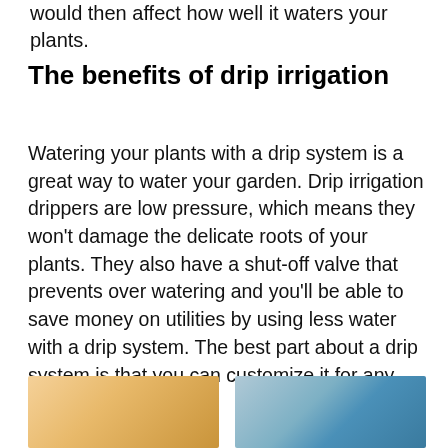would then affect how well it waters your plants.
The benefits of drip irrigation
Watering your plants with a drip system is a great way to water your garden. Drip irrigation drippers are low pressure, which means they won't damage the delicate roots of your plants. They also have a shut-off valve that prevents over watering and you'll be able to save money on utilities by using less water with a drip system. The best part about a drip system is that you can customize it for any size or shape garden.
[Figure (photo): Two photos side by side, partially visible at bottom of page: left photo shows a warm-toned close-up image (likely a plant or flower), right photo shows a person with a blue element visible.]